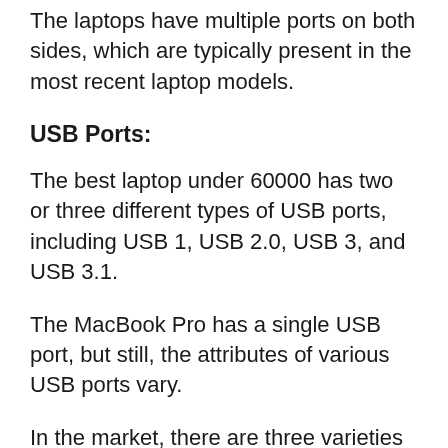The laptops have multiple ports on both sides, which are typically present in the most recent laptop models.
USB Ports:
The best laptop under 60000 has two or three different types of USB ports, including USB 1, USB 2.0, USB 3, and USB 3.1.
The MacBook Pro has a single USB port, but still, the attributes of various USB ports vary.
In the market, there are three varieties of USB ports (USB-Type A, USB-Type B, and USB-Type C).